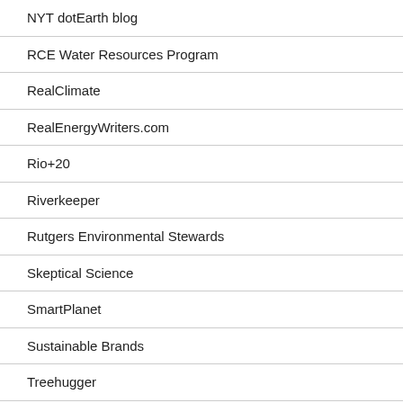NYT dotEarth blog
RCE Water Resources Program
RealClimate
RealEnergyWriters.com
Rio+20
Riverkeeper
Rutgers Environmental Stewards
Skeptical Science
SmartPlanet
Sustainable Brands
Treehugger
TriplePundit